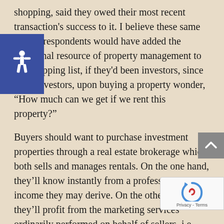shopping, said they owed their most recent transaction's success to it. I believe these same survey respondents would have added the additional resource of property management to the shopping list, if they'd been investors, since most investors, upon buying a property wonder, “How much can we get if we rent this property?”
Buyers should want to purchase investment properties through a real estate brokerage which both sells and manages rentals. On the one hand, they’ll know instantly from a professional what income they may derive. On the other hand, they’ll profit from the marketing services ordinarily performed on behalf of sellers, i.e. inclusion in the MLS